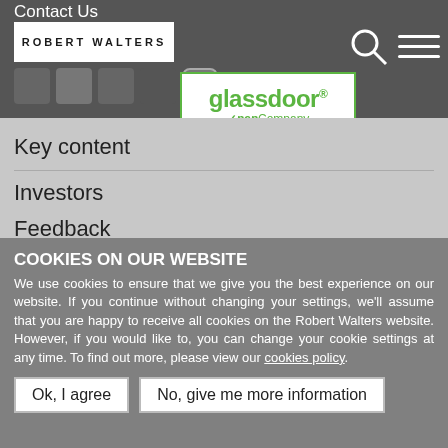Contact Us
[Figure (logo): Robert Walters logo (white text on white background bar)]
[Figure (logo): Glassdoor Open Company badge with green border and green text]
Key content
Investors
Feedback
Legal Disclaimer
Accessibility
Careers
COOKIES ON OUR WEBSITE
We use cookies to ensure that we give you the best experience on our website. If you continue without changing your settings, we'll assume that you are happy to receive all cookies on the Robert Walters website. However, if you would like to, you can change your cookie settings at any time. To find out more, please view our cookies policy.